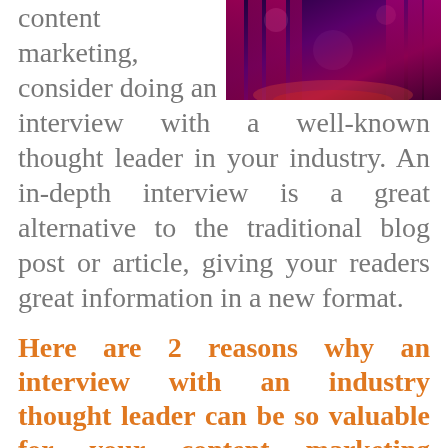[Figure (photo): A dark stage scene with purple and red curtains or lighting, top-right of the page.]
content marketing, consider doing an interview with a well-known thought leader in your industry. An in-depth interview is a great alternative to the traditional blog post or article, giving your readers great information in a new format.
Here are 2 reasons why an interview with an industry thought leader can be so valuable for your content marketing efforts:
1.  Leverage the authority of your subject.
When a thought leader...